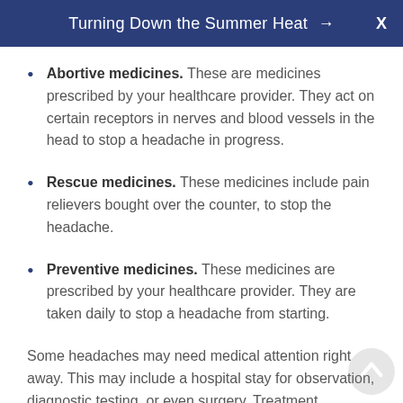Turning Down the Summer Heat →  X
Abortive medicines. These are medicines prescribed by your healthcare provider. They act on certain receptors in nerves and blood vessels in the head to stop a headache in progress.
Rescue medicines. These medicines include pain relievers bought over the counter, to stop the headache.
Preventive medicines. These medicines are prescribed by your healthcare provider. They are taken daily to stop a headache from starting.
Some headaches may need medical attention right away. This may include a hospital stay for observation, diagnostic testing, or even surgery. Treatment depends